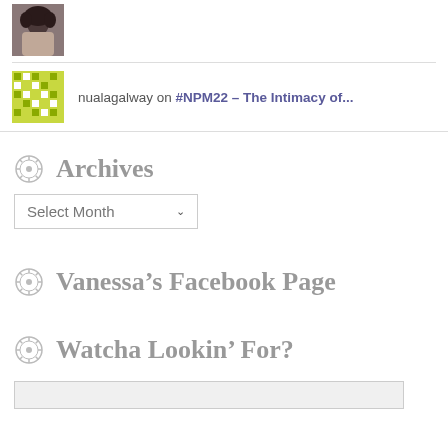[Figure (photo): Small square avatar photo of a person with curly dark hair]
nualagalway on #NPM22 – The Intimacy of...
Archives
Select Month (dropdown)
Vanessa's Facebook Page
Watcha Lookin' For?